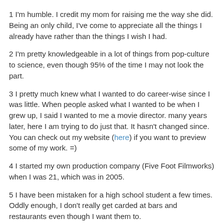1 I'm humble. I credit my mom for raising me the way she did. Being an only child, I've come to appreciate all the things I already have rather than the things I wish I had.
2 I'm pretty knowledgeable in a lot of things from pop-culture to science, even though 95% of the time I may not look the part.
3 I pretty much knew what I wanted to do career-wise since I was little. When people asked what I wanted to be when I grew up, I said I wanted to me a movie director. many years later, here I am trying to do just that. It hasn't changed since. You can check out my website (here) if you want to preview some of my work. =)
4 I started my own production company (Five Foot Filmworks) when I was 21, which was in 2005.
5 I have been mistaken for a high school student a few times. Oddly enough, I don't really get carded at bars and restaurants even though I want them to.